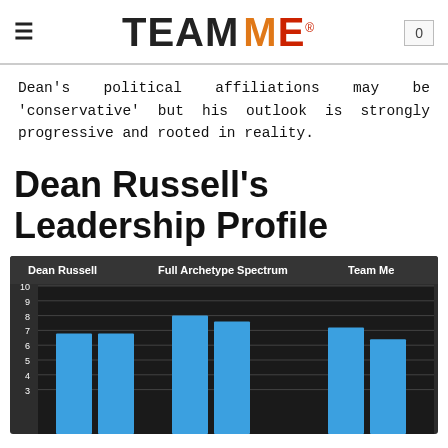TEAM ME
Dean's political affiliations may be 'conservative' but his outlook is strongly progressive and rooted in reality.
Dean Russell's Leadership Profile
[Figure (bar-chart): Dean Russell vs Full Archetype Spectrum vs Team Me]